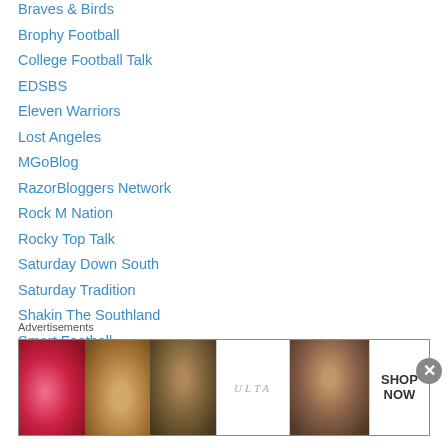Braves & Birds
Brophy Football
College Football Talk
EDSBS
Eleven Warriors
Lost Angeles
MGoBlog
RazorBloggers Network
Rock M Nation
Rocky Top Talk
Saturday Down South
Saturday Tradition
Shakin The Southland
Smart Football
Team Speed Kills
The National Championship Issue
The Wizard of Odds
Advertisements
[Figure (photo): ULTA beauty advertisement banner showing makeup imagery including lips, makeup brush, eye, ULTA logo, and eye closeup with SHOP NOW text]